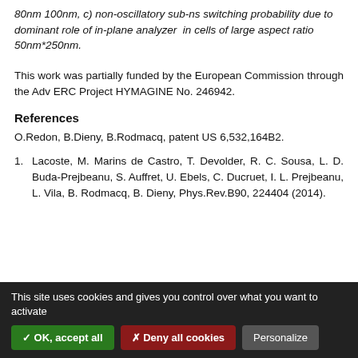80nm 100nm, c) non-oscillatory sub-ns switching probability due to dominant role of in-plane analyzer in cells of large aspect ratio 50nm*250nm.
This work was partially funded by the European Commission through the Adv ERC Project HYMAGINE No. 246942.
References
O.Redon, B.Dieny, B.Rodmacq, patent US 6,532,164B2.
1. Lacoste, M. Marins de Castro, T. Devolder, R. C. Sousa, L. D. Buda-Prejbeanu, S. Auffret, U. Ebels, C. Ducruet, I. L. Prejbeanu, L. Vila, B. Rodmacq, B. Dieny, Phys.Rev.B90, 224404 (2014).
This site uses cookies and gives you control over what you want to activate